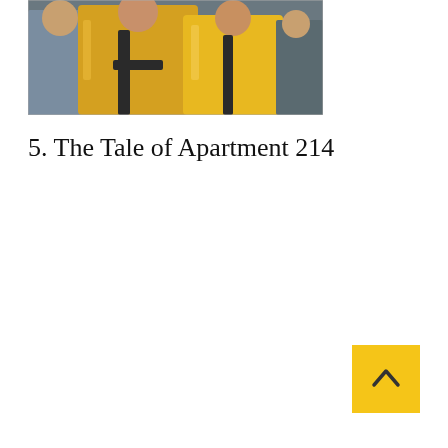[Figure (photo): Photo of people wearing yellow/gold costumes or jackets, appears to be a group scene, partially cropped at top of page]
5. The Tale of Apartment 214